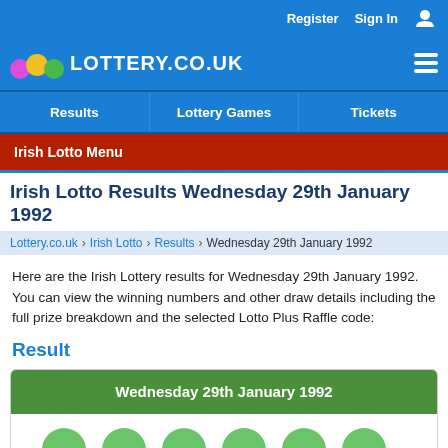Register  Sign In
[Figure (logo): Lottery.co.uk logo with coloured balls (pink, yellow, green) and hamburger menu icon]
Results  Lottery Games  Tickets
Irish Lotto Menu
Irish Lotto Results Wednesday 29th January 1992
Lottery.co.uk  Irish Lotto  Results  Wednesday 29th January 1992
Here are the Irish Lottery results for Wednesday 29th January 1992. You can view the winning numbers and other draw details including the full prize breakdown and the selected Lotto Plus Raffle code:
Result
Wednesday 29th January 1992